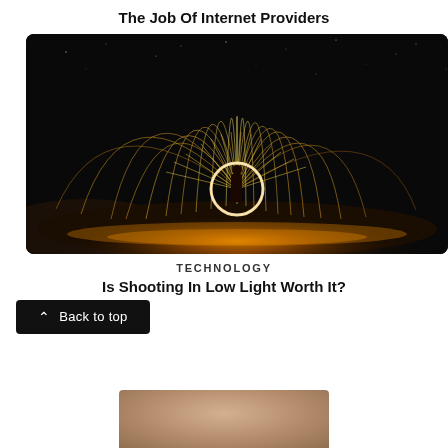The Job Of Internet Providers
[Figure (photo): Long-exposure night photography of a person spinning steel wool, creating dramatic arcs of golden sparks against a dark starry sky. A bright circular ring of light surrounds the standing figure at the center.]
TECHNOLOGY
Is Shooting In Low Light Worth It?
Back to top